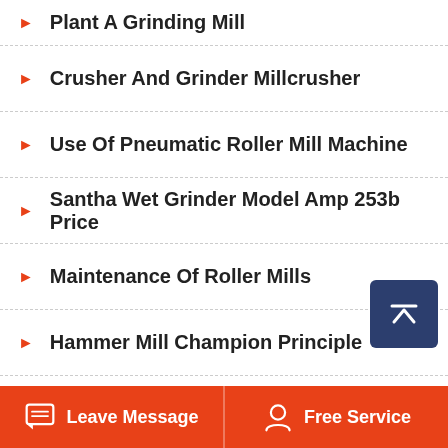Plant A Grinding Mill
Crusher And Grinder Millcrusher
Use Of Pneumatic Roller Mill Machine
Santha Wet Grinder Model Amp 253b Price
Maintenance Of Roller Mills
Hammer Mill Champion Principle
Polishing And Grinding Machine
Small Industrial Grinding Machine Types
Leave Message | Free Service